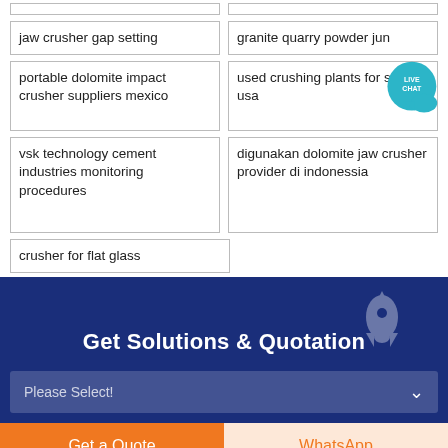jaw crusher gap setting
granite quarry powder jun
portable dolomite impact crusher suppliers mexico
used crushing plants for sale in usa
vsk technology cement industries monitoring procedures
digunakan dolomite jaw crusher provider di indonessia
crusher for flat glass
Get Solutions & Quotation
Please Select!
Get a Quote
WhatsApp